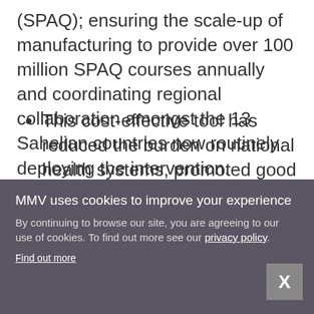(SPAQ); ensuring the scale-up of manufacturing to provide over 100 million SPAQ courses annually and coordinating regional collaboration amongst the 13 Sahelian countries now routinely deploying the intervention.
This cost-effective tool has reduced the burden on national health systems, promoted good health practices, helped regulatory authorities improve pharmacovigilance and has become a benchmark
MMV uses cookies to improve your experience
By continuing to browse our site, you are agreeing to our use of cookies. To find out more see our privacy policy.
Find out more